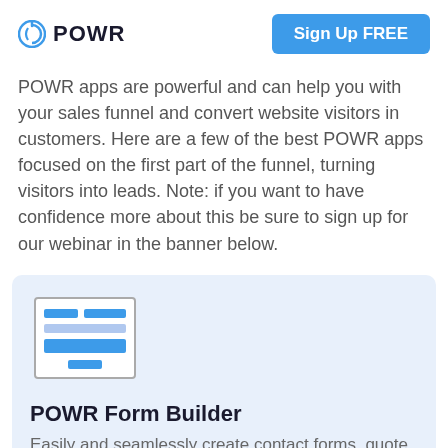POWR | Sign Up FREE
POWR apps are powerful and can help you with your sales funnel and convert website visitors in customers. Here are a few of the best POWR apps focused on the first part of the funnel, turning visitors into leads. Note: if you want to have confidence more about this be sure to sign up for our webinar in the banner below.
[Figure (illustration): Icon of a web form with input fields and a submit button, in blue on white background with border]
POWR Form Builder
Easily and seamlessly create contact forms, quote forms, support forms and more that you